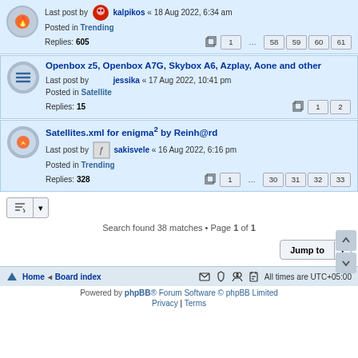Last post by kalpikos « 18 Aug 2022, 6:34 am
Posted in Trending
Replies: 605
Pages: 1 ... 58 59 60 61
Openbox z5, Openbox A7G, Skybox A6, Azplay, Aone and other
Last post by jessika « 17 Aug 2022, 10:41 pm
Posted in Satellite
Replies: 15
Pages: 1 2
Satellites.xml for enigma² by Reinh@rd
Last post by sakisvele « 16 Aug 2022, 6:16 pm
Posted in Trending
Replies: 328
Pages: 1 ... 30 31 32 33
Search found 38 matches • Page 1 of 1
Home • Board index | All times are UTC+05:00
Powered by phpBB® Forum Software © phpBB Limited
Privacy | Terms